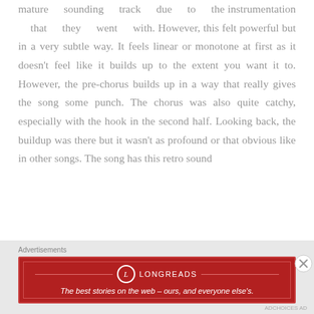mature sounding track due to the instrumentation that they went with. However, this felt powerful but in a very subtle way. It feels linear or monotone at first as it doesn't feel like it builds up to the extent you want it to. However, the pre-chorus builds up in a way that really gives the song some punch. The chorus was also quite catchy, especially with the hook in the second half. Looking back, the buildup was there but it wasn't as profound or that obvious like in other songs. The song has this retro sound
[Figure (other): Longreads advertisement banner: red background with Longreads logo and tagline 'The best stories on the web – ours, and everyone else's.']